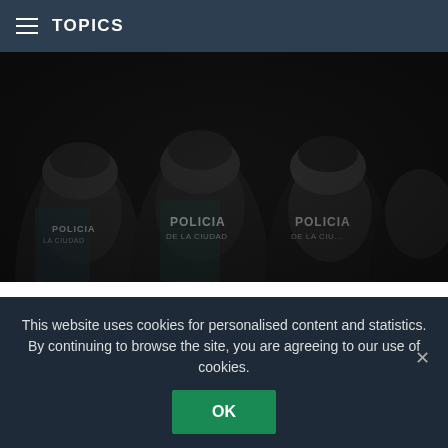TOPICS
[Figure (photo): Riot police officers in dark uniforms with helmets and shields, marked 'POLICIA DE LA CIUDAD' on their backs, viewed from behind in a crowd scene.]
At least 14 police injured as supporters of Argentina's vice president protest
Today at 07:44 AM, via CNN
Police fired tear gas in the Argentine capital Saturday, as they clashed with supporters of vice president Cristina Fernandez de Kirchner, days after prosecutors sought a 12-year prison sentence against her for alleged corruption.
This website uses cookies for personalised content and statistics. By continuing to browse the site, you are agreeing to our use of cookies.